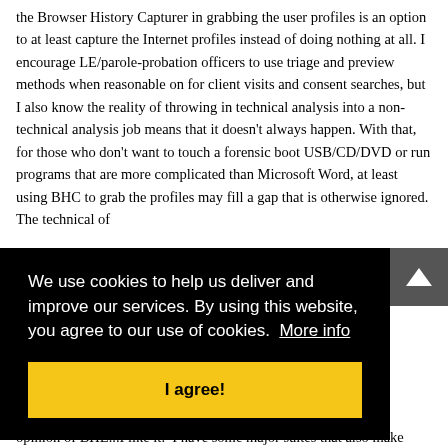the Browser History Capturer in grabbing the user profiles is an option to at least capture the Internet profiles instead of doing nothing at all. I encourage LE/parole-probation officers to use triage and preview methods when reasonable on for client visits and consent searches, but I also know the reality of throwing in technical analysis into a non-technical analysis job means that it doesn't always happen. With that, for those who don't want to touch a forensic boot USB/CD/DVD or run programs that are more complicated than Microsoft Word, at least using BHC to grab the profiles may fill a gap that is otherwise ignored. The technical of
[Figure (screenshot): Cookie consent overlay with black background. Text reads: 'We use cookies to help us deliver and improve our services. By using this website, you agree to our use of cookies. More info' with a yellow 'I agree!' button below.]
opinion of BHE...I like it.  I have some major suites that also make